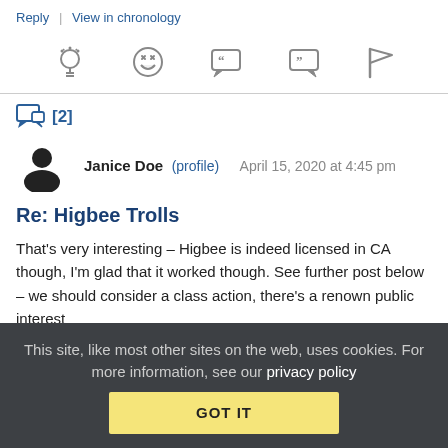Reply | View in chronology
[Figure (infographic): Row of action icons: lightbulb, laughing emoji, quote bubble left, quote bubble right, flag]
[2]
Janice Doe (profile)  April 15, 2020 at 4:45 pm
Re: Higbee Trolls
That's very interesting – Higbee is indeed licensed in CA though, I'm glad that it worked though. See further post below – we should consider a class action, there's a renown public interest
This site, like most other sites on the web, uses cookies. For more information, see our privacy policy
GOT IT